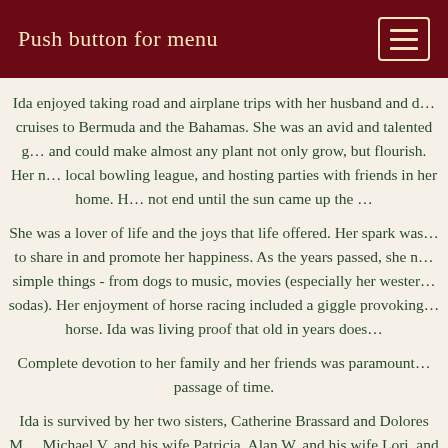Push button for menu
Ida enjoyed taking road and airplane trips with her husband and d… cruises to Bermuda and the Bahamas. She was an avid and talented g… and could make almost any plant not only grow, but flourish. Her … local bowling league, and hosting parties with friends in her home. H… not end until the sun came up the …
She was a lover of life and the joys that life offered. Her spark was … to share in and promote her happiness. As the years passed, she … simple things - from dogs to music, movies (especially her wester… sodas). Her enjoyment of horse racing included a giggle provoking… horse. Ida was living proof that old in years does…
Complete devotion to her family and her friends was paramount… passage of time.
Ida is survived by her two sisters, Catherine Brassard and Dolores M… Michael V. and his wife Patricia, Alan W. and his wife Lori, and W… her 7